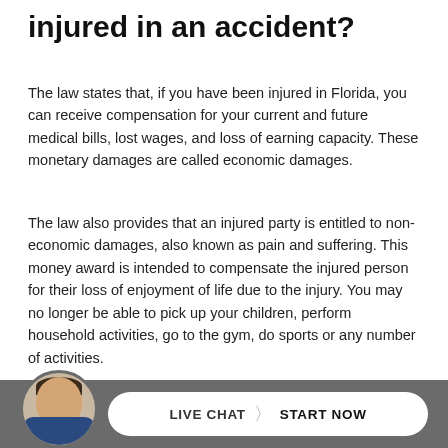injured in an accident?
The law states that, if you have been injured in Florida, you can receive compensation for your current and future medical bills, lost wages, and loss of earning capacity. These monetary damages are called economic damages.
The law also provides that an injured party is entitled to non-economic damages, also known as pain and suffering. This money award is intended to compensate the injured person for their loss of enjoyment of life due to the injury. You may no longer be able to pick up your children, perform household activities, go to the gym, do sports or any number of activities.
What can we do if my minor
[Figure (illustration): Live chat bar with attorney avatar photo and a pill-shaped button reading LIVE CHAT > START NOW on a gray background]